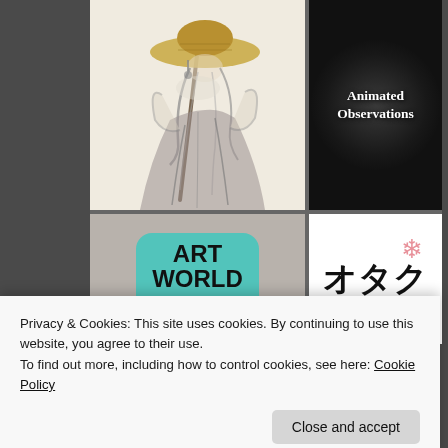[Figure (illustration): Ink wash sketch of a robed figure (samurai/monk) wearing a straw hat and carrying a staff, drawn in Japanese painting style]
[Figure (logo): Dark circular logo with white bold serif text reading 'Animated Observations' on a black background with radial glow effect]
[Figure (logo): Gray background with teal/mint rounded rectangle containing bold black text 'ART WORLD BLOG' in three lines]
[Figure (logo): White background with Japanese katakana characters (otaku) in bold black with a pink flower accent]
Privacy & Cookies: This site uses cookies. By continuing to use this website, you agree to their use.
To find out more, including how to control cookies, see here: Cookie Policy
Close and accept